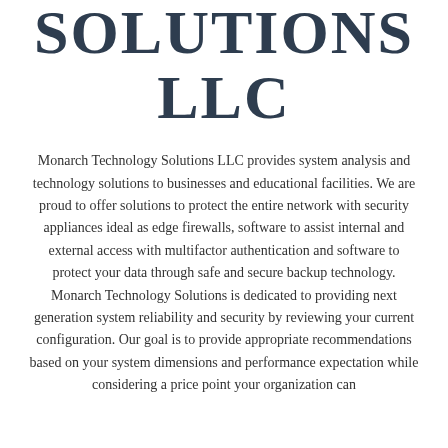SOLUTIONS LLC
Monarch Technology Solutions LLC provides system analysis and technology solutions to businesses and educational facilities. We are proud to offer solutions to protect the entire network with security appliances ideal as edge firewalls, software to assist internal and external access with multifactor authentication and software to protect your data through safe and secure backup technology. Monarch Technology Solutions is dedicated to providing next generation system reliability and security by reviewing your current configuration. Our goal is to provide appropriate recommendations based on your system dimensions and performance expectation while considering a price point your organization can